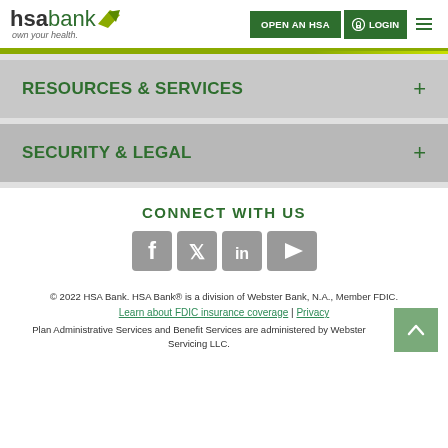[Figure (logo): HSA Bank logo with green arrow and tagline 'own your health.']
RESOURCES & SERVICES
SECURITY & LEGAL
CONNECT WITH US
[Figure (illustration): Social media icons: Facebook, Twitter, LinkedIn, YouTube in gray]
© 2022 HSA Bank. HSA Bank® is a division of Webster Bank, N.A., Member FDIC.
Learn about FDIC insurance coverage | Privacy
Plan Administrative Services and Benefit Services are administered by Webster Servicing LLC.